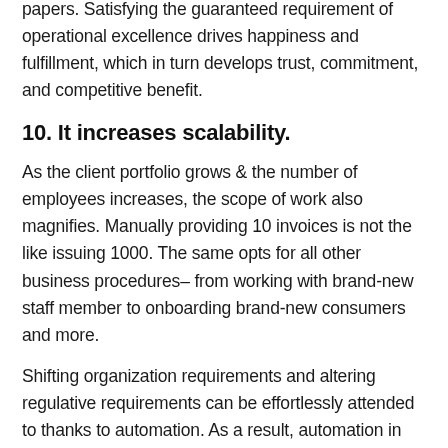papers. Satisfying the guaranteed requirement of operational excellence drives happiness and fulfillment, which in turn develops trust, commitment, and competitive benefit.
10. It increases scalability.
As the client portfolio grows & the number of employees increases, the scope of work also magnifies. Manually providing 10 invoices is not the like issuing 1000. The same opts for all other business procedures– from working with brand-new staff member to onboarding brand-new consumers and more.
Shifting organization requirements and altering regulative requirements can be effortlessly attended to thanks to automation. As a result, automation in business assists improve scalability efficiency.